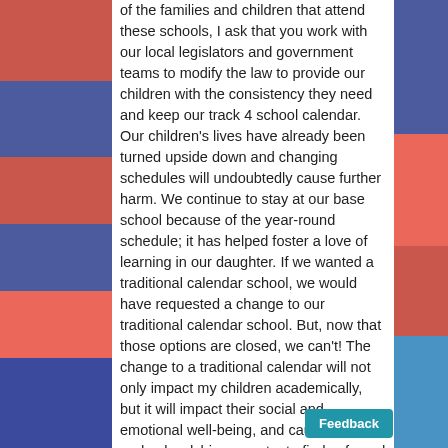of the families and children that attend these schools, I ask that you work with our local legislators and government teams to modify the law to provide our children with the consistency they need and keep our track 4 school calendar. Our children's lives have already been turned upside down and changing schedules will undoubtedly cause further harm. We continue to stay at our base school because of the year-round schedule; it has helped foster a love of learning in our daughter. If we wanted a traditional calendar school, we would have requested a change to our traditional calendar school. But, now that those options are closed, we can't! The change to a traditional calendar will not only impact my children academically, but it will impact their social and emotional well-being, and cause major undue hardship as we try to find safe and reliable childcare, As a parent, I worry about what challenges we will face during the 2020/2021 school year and how we'll ensure our children are safe. The school year ahead is full of uncertainty and concern. Give our children the one thing they know and have thrived under – a year-round school calendar! As we all strive to navigate thro